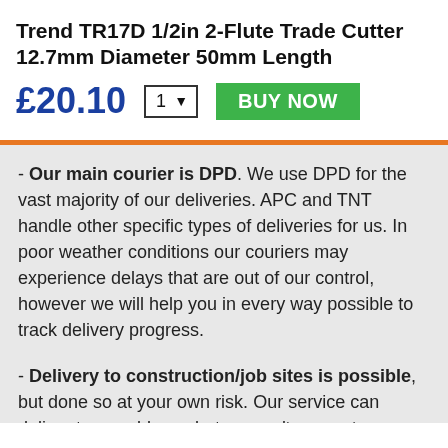Trend TR17D 1/2in 2-Flute Trade Cutter 12.7mm Diameter 50mm Length
£20.10  [1 ▼]  BUY NOW
- Our main courier is DPD. We use DPD for the vast majority of our deliveries. APC and TNT handle other specific types of deliveries for us. In poor weather conditions our couriers may experience delays that are out of our control, however we will help you in every way possible to track delivery progress.
- Delivery to construction/job sites is possible, but done so at your own risk. Our service can deliver to an address, but we can't guarantee delivery to a specific person or location at the address. For the